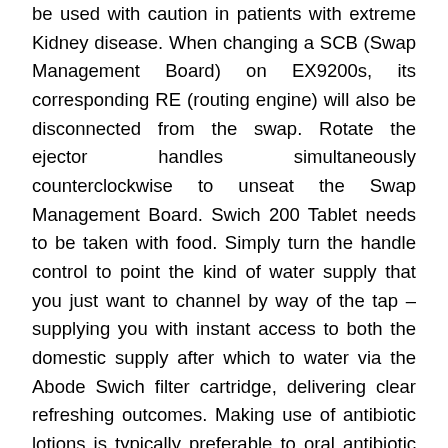be used with caution in patients with extreme Kidney disease. When changing a SCB (Swap Management Board) on EX9200s, its corresponding RE (routing engine) will also be disconnected from the swap. Rotate the ejector handles simultaneously counterclockwise to unseat the Swap Management Board. Swich 200 Tablet needs to be taken with food. Simply turn the handle control to point the kind of water supply that you just want to channel by way of the tap – supplying you with instant access to both the domestic supply after which to water via the Abode Swich filter cartridge, delivering clear refreshing outcomes. Making use of antibiotic lotions is typically preferable to oral antibiotic therapy, since the patient is not going to suffer possible uncomfortable side effects. If the product incorporates acceptable substances, the pimples will recede in three months or so. Buzzle guides you to the most effective products to deal with pimples and achieve clear, smooth skin. When the Swich system is turned to the filter setting, you will experience a barely lower circulate of